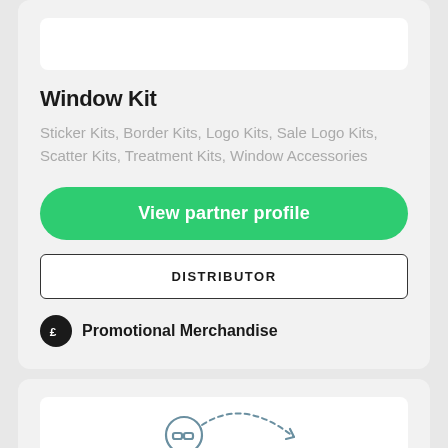[Figure (illustration): White image placeholder at the top of the first card]
Window Kit
Sticker Kits, Border Kits, Logo Kits, Sale Logo Kits, Scatter Kits, Treatment Kits, Window Accessories
View partner profile
DISTRIBUTOR
Promotional Merchandise
[Figure (illustration): Partial illustration of a person with glasses and a gear/toolbox, shown in outline style at the bottom of the page]